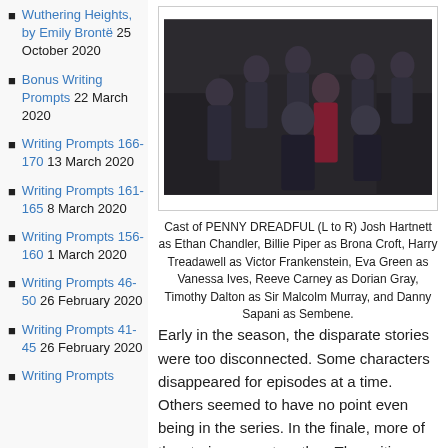Wuthering Heights, by Emily Brontë 25 October 2020
Bonus Writing Prompts 22 March 2020
Writing Prompts 166-170 13 March 2020
Writing Prompts 161-165 8 March 2020
Writing Prompts 156-160 1 March 2020
Writing Prompts 46-50 26 February 2020
Writing Prompts 41-45 26 February 2020
Writing Prompts
[Figure (photo): Cast of PENNY DREADFUL group photo with multiple actors in Victorian dark costumes on a staircase]
Cast of PENNY DREADFUL (L to R) Josh Hartnett as Ethan Chandler, Billie Piper as Brona Croft, Harry Treadawell as Victor Frankenstein, Eva Green as Vanessa Ives, Reeve Carney as Dorian Gray, Timothy Dalton as Sir Malcolm Murray, and Danny Sapani as Sembene.
Early in the season, the disparate stories were too disconnected. Some characters disappeared for episodes at a time. Others seemed to have no point even being in the series. In the finale, more of the stories came together. The writing was a bit stronger, and the performances more